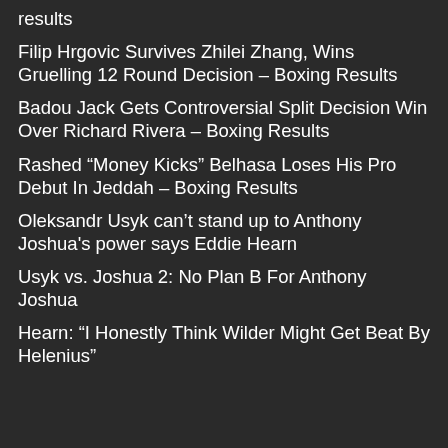results
Filip Hrgovic Survives Zhilei Zhang, Wins Gruelling 12 Round Decision – Boxing Results
Badou Jack Gets Controversial Split Decision Win Over Richard Rivera – Boxing Results
Rashed “Money Kicks” Belhasa Loses His Pro Debut In Jeddah – Boxing Results
Oleksandr Usyk can’t stand up to Anthony Joshua's power says Eddie Hearn
Usyk vs. Joshua 2: No Plan B For Anthony Joshua
Hearn: “I Honestly Think Wilder Might Get Beat By Helenius”